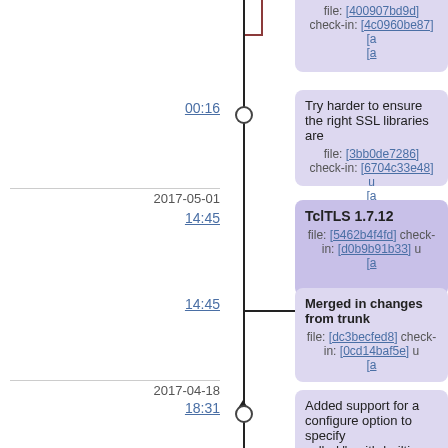[Figure (flowchart): Version control timeline / commit history graph showing branching and merging with commit nodes, dates, times, and commit messages for a software repository (TclTLS).]
file: [400907bd9d] check-in: [4c0960be87]
00:16
Try harder to ensure the right SSL libraries are
file: [3bb0de7286] check-in: [6704c33e48]
2017-05-01
14:45
TclTLS 1.7.12
file: [5462b4f4fd] check-in: [d0b9b91b33]
14:45
Merged in changes from trunk
file: [dc3becfed8] check-in: [0cd14baf5e]
2017-04-18
18:31
Added support for a configure option to specify called "--with-builtin-dh-params-size"
file: [e2b59fbe21] check-in: [5e7de567cf]
2016-12-17
15:44
TclTLS 1.7.11